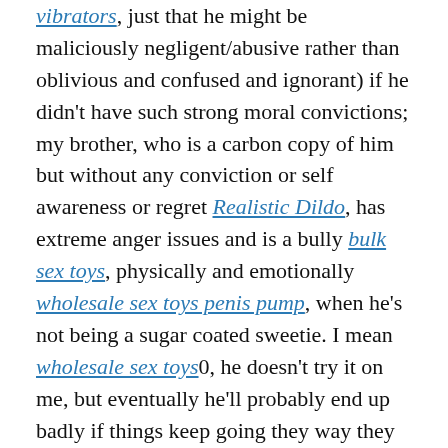vibrators, just that he might be maliciously negligent/abusive rather than oblivious and confused and ignorant) if he didn't have such strong moral convictions; my brother, who is a carbon copy of him but without any conviction or self awareness or regret Realistic Dildo, has extreme anger issues and is a bully bulk sex toys, physically and emotionally wholesale sex toys penis pump, when he's not being a sugar coated sweetie. I mean wholesale sex toys0, he doesn't try it on me, but eventually he'll probably end up badly if things keep going they way they are now..
State Sen. Frank Wagner (Virginia Beach) is a 25 year veteran of the General Assembly who plays up experience and pragmatism with a